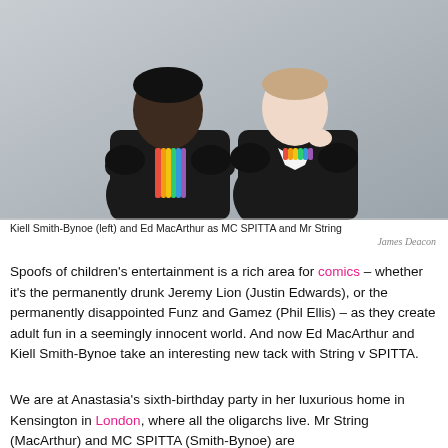[Figure (photo): Two men in dark suits posing back-to-back wearing colourful rainbow bow ties/accessories against a grey background. Kiell Smith-Bynoe on the left with arms crossed, Ed MacArthur on the right adjusting his tie.]
Kiell Smith-Bynoe (left) and Ed MacArthur as MC SPITTA and Mr String
James Deacon
Spoofs of children's entertainment is a rich area for comics – whether it's the permanently drunk Jeremy Lion (Justin Edwards), or the permanently disappointed Funz and Gamez (Phil Ellis) – as they create adult fun in a seemingly innocent world. And now Ed MacArthur and Kiell Smith-Bynoe take an interesting new tack with String v SPITTA.
We are at Anastasia's sixth-birthday party in her luxurious home in Kensington in London, where all the oligarchs live. Mr String (MacArthur) and MC SPITTA (Smith-Bynoe) are